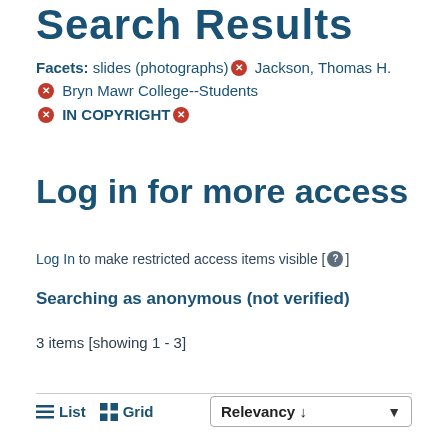Search Results
Facets: slides (photographs) ✕   Jackson, Thomas H. ✕   Bryn Mawr College--Students ✕   IN COPYRIGHT ✕
Log in for more access
Log In to make restricted access items visible [ ? ]
Searching as anonymous (not verified)
3 items [showing 1 - 3]
≡ List  ⊞ Grid   Relevancy ↓